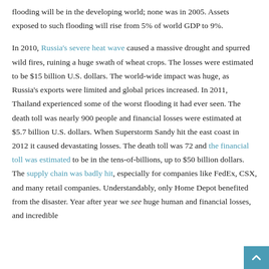flooding will be in the developing world; none was in 2005. Assets exposed to such flooding will rise from 5% of world GDP to 9%.

In 2010, Russia's severe heat wave caused a massive drought and spurred wild fires, ruining a huge swath of wheat crops. The losses were estimated to be $15 billion U.S. dollars. The world-wide impact was huge, as Russia's exports were limited and global prices increased. In 2011, Thailand experienced some of the worst flooding it had ever seen. The death toll was nearly 900 people and financial losses were estimated at $5.7 billion U.S. dollars. When Superstorm Sandy hit the east coast in 2012 it caused devastating losses. The death toll was 72 and the financial toll was estimated to be in the tens-of-billions, up to $50 billion dollars. The supply chain was badly hit, especially for companies like FedEx, CSX, and many retail companies. Understandably, only Home Depot benefited from the disaster. Year after year we see huge human and financial losses, and incredible